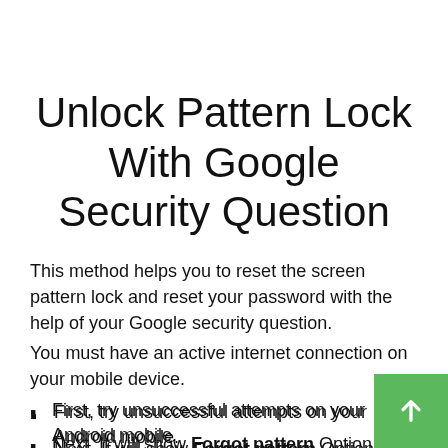Unlock Pattern Lock With Google Security Question
This method helps you to reset the screen pattern lock and reset your password with the help of your Google security question.
You must have an active internet connection on your mobile device.
First, try unsuccessful attempts on your Android mobile.
Next, It will show Forgot pattern Option.
Select Answer question Option.